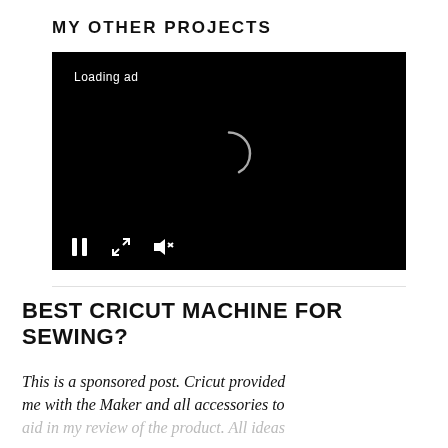MY OTHER PROJECTS
[Figure (screenshot): Video player with black background showing 'Loading ad' text, a spinning loading indicator in the center, and playback controls (pause, fullscreen, mute) at the bottom.]
BEST CRICUT MACHINE FOR SEWING?
This is a sponsored post. Cricut provided me with the Maker and all accessories to aid in my review of the product. All ideas